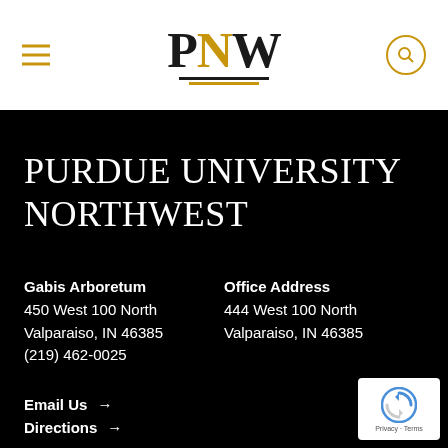[Figure (logo): PNW Purdue University Northwest logo with gold N and underline bars]
PURDUE UNIVERSITY NORTHWEST
Gabis Arboretum
450 West 100 North
Valparaiso, IN 46385
(219) 462-0025
Office Address
444 West 100 North
Valparaiso, IN 46385
Email Us →
Directions →